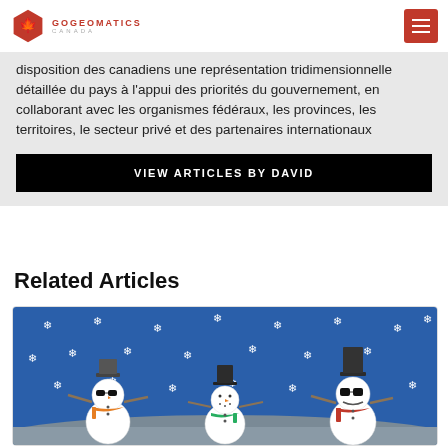GoGeomatics Canada
disposition des canadiens une représentation tridimensionnelle détaillée du pays à l'appui des priorités du gouvernement, en collaborant avec les organismes fédéraux, les provinces, les territoires, le secteur privé et des partenaires internationaux
VIEW ARTICLES BY DAVID
Related Articles
[Figure (illustration): Winter holiday illustration showing three cartoon snowmen with sunglasses on a snowy blue background with white snowflakes. Left snowman wears orange scarf and dark hat, middle snowman wears green scarf and black top hat, right snowman wears red scarf and tall black top hat.]